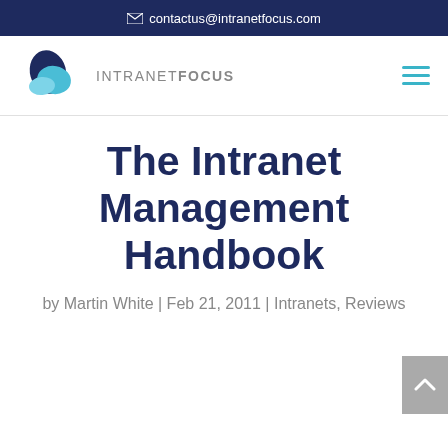contactus@intranetfocus.com
[Figure (logo): IntranetFocus logo with stylized blue teardrop/leaf icon and text INTRANETFOCUS]
The Intranet Management Handbook
by Martin White | Feb 21, 2011 | Intranets, Reviews